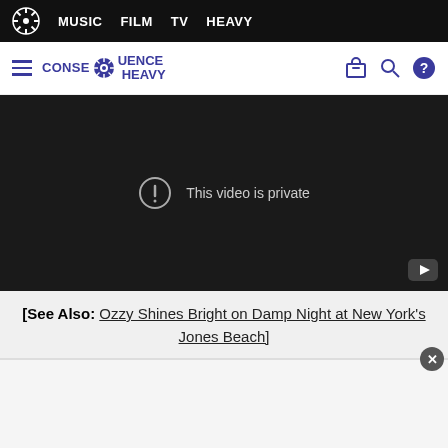MUSIC  FILM  TV  HEAVY
[Figure (screenshot): Consequence Heavy website header with hamburger menu, logo, and icons for store, search, and help]
[Figure (screenshot): Embedded video player showing 'This video is private' message with YouTube icon]
[See Also: Ozzy Shines Bright on Damp Night at New York's Jones Beach]
[Figure (other): Advertisement area with close (X) button]